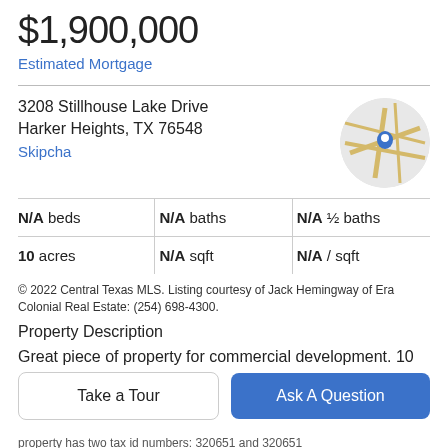$1,900,000
Estimated Mortgage
3208 Stillhouse Lake Drive
Harker Heights, TX 76548
Skipcha
[Figure (map): Circular map thumbnail with blue location pin marker, showing street map of Harker Heights area]
| N/A beds | N/A baths | N/A ½ baths |
| 10 acres | N/A sqft | N/A / sqft |
© 2022 Central Texas MLS. Listing courtesy of Jack Hemingway of Era Colonial Real Estate: (254) 698-4300.
Property Description
Great piece of property for commercial development. 10
Take a Tour
Ask A Question
property has two tax id numbers: 320651 and 320651